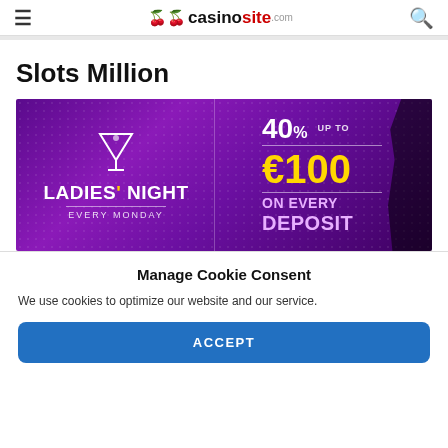casinosite.com
Slots Million
[Figure (photo): Casino promotional banner for Slots Million showing a Ladies' Night promotion: 40% up to €100 on every deposit, every Monday, with a martini glass and female silhouette on a purple background.]
Manage Cookie Consent
We use cookies to optimize our website and our service.
ACCEPT